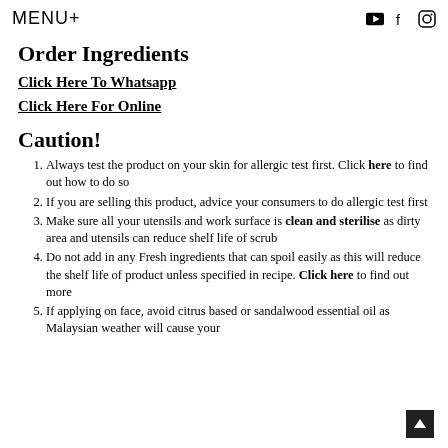MENU+
Order Ingredients
Click Here To Whatsapp
Click Here For Online
Caution!
Always test the product on your skin for allergic test first. Click here to find out how to do so
If you are selling this product, advice your consumers to do allergic test first
Make sure all your utensils and work surface is clean and sterilise as dirty area and utensils can reduce shelf life of scrub
Do not add in any Fresh ingredients that can spoil easily as this will reduce the shelf life of product unless specified in recipe. Click here to find out more
If applying on face, avoid citrus based or sandalwood essential oil as Malaysian weather will cause your